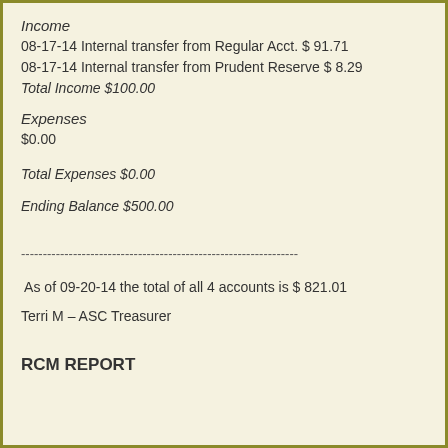Income
08-17-14 Internal transfer from Regular Acct. $ 91.71
08-17-14 Internal transfer from Prudent Reserve $ 8.29
Total Income $100.00
Expenses
$0.00
Total Expenses $0.00
Ending Balance $500.00
----------------------------------------------------------------
As of 09-20-14 the total of all 4 accounts is $ 821.01
Terri M – ASC Treasurer
RCM REPORT